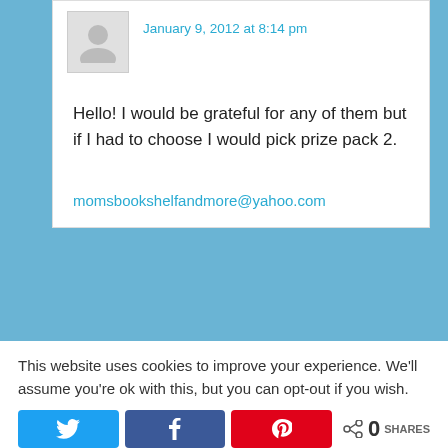January 9, 2012 at 8:14 pm
Hello! I would be grateful for any of them but if I had to choose I would pick prize pack 2.
momsbookshelfandmore@yahoo.com
This website uses cookies to improve your experience. We'll assume you're ok with this, but you can opt-out if you wish.